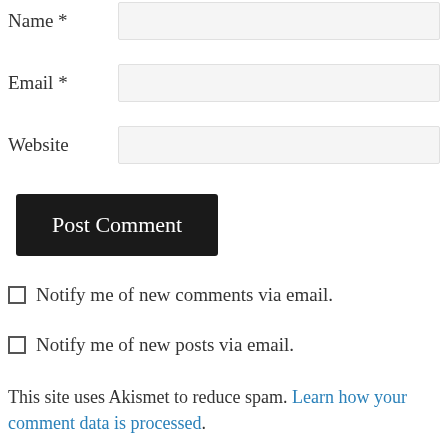Name *
Email *
Website
Post Comment
Notify me of new comments via email.
Notify me of new posts via email.
This site uses Akismet to reduce spam. Learn how your comment data is processed.